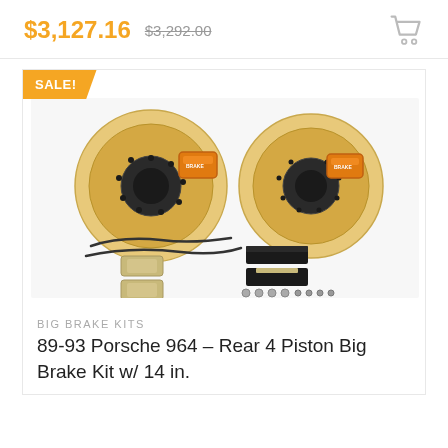$3,127.16  $3,292.00
[Figure (photo): Product photo of a big brake kit including two large drilled rotors with orange calipers, brake pads, brake lines, and hardware]
SALE!
BIG BRAKE KITS
89-93 Porsche 964 – Rear 4 Piston Big Brake Kit w/ 14 in.